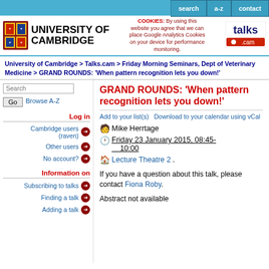search  a-z  contact
[Figure (logo): University of Cambridge coat of arms logo and university name]
COOKIES: By using this website you agree that we can place Google Analytics Cookies on your device for performance monitoring.
[Figure (logo): talks.cam logo]
University of Cambridge > Talks.cam > Friday Morning Seminars, Dept of Veterinary Medicine > GRAND ROUNDS: 'When pattern recognition lets you down!'
Search / Go / Browse A-Z
Log in
Cambridge users (raven)
Other users
No account?
Information on
Subscribing to talks
Finding a talk
Adding a talk
GRAND ROUNDS: 'When pattern recognition lets you down!'
Add to your list(s)    Download to your calendar using vCal
Mike Herrtage
Friday 23 January 2015, 08:45-10:00
Lecture Theatre 2.
If you have a question about this talk, please contact Fiona Roby.
Abstract not available